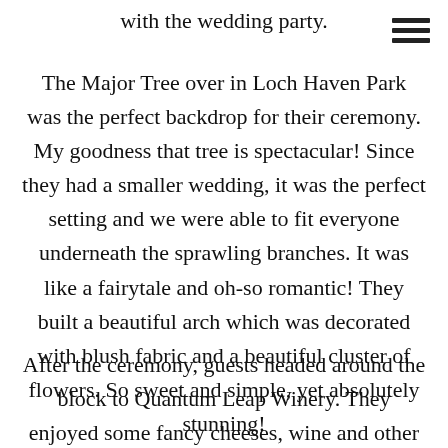with the wedding party.
The Major Tree over in Loch Haven Park was the perfect backdrop for their ceremony. My goodness that tree is spectacular! Since they had a smaller wedding, it was the perfect setting and we were able to fit everyone underneath the sprawling branches. It was like a fairytale and oh-so romantic! They built a beautiful arch which was decorated with blush fabric and a beautiful cluster of flowers. So sweet and simple, yet absolutely stunning!
After the ceremony, guests headed around the block to Quantum Leap Winery. They enjoyed some fancy cheeses, wine and other yummy hors d'oeuvres. The hot hors d'oeuvres looked great f